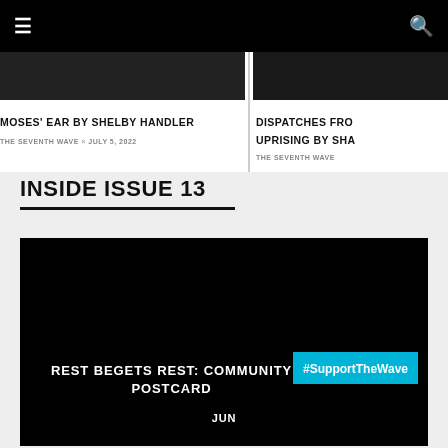Navigation bar with menu and search icons
MOSES' EAR BY SHELBY HANDLER
THE SEVENTH WAVE × JULY 5, 2022
DISPATCHES FROM THE UPRISING BY SHA...
THE SEVENTH WAVE
INSIDE ISSUE 13
[Figure (photo): Black feature image card with text overlay reading REST BEGETS REST: COMMUNITY POSTCARD and a cyan #SupportTheWave badge]
REST BEGETS REST: COMMUNITY POSTCARD
#SupportTheWave
JUN...